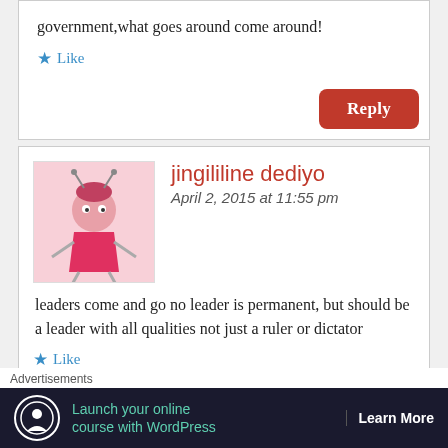government,what goes around come around!
Like
Reply
jingililine dediyo
April 2, 2015 at 11:55 pm
leaders come and go no leader is permanent, but should be a leader with all qualities not just a ruler or dictator
Like
Advertisements
Launch your online course with WordPress
Learn More